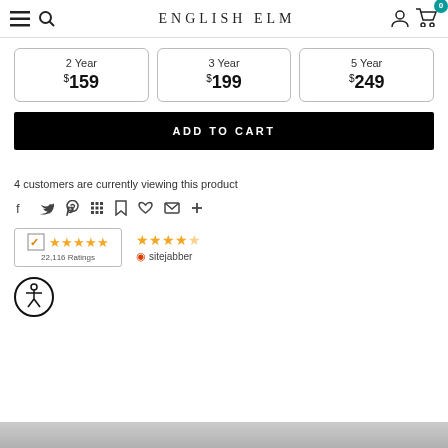English Elm
| Plan | Price |
| --- | --- |
| 2 Year | $159 |
| 3 Year | $199 |
| 5 Year | $249 |
ADD TO CART
4 customers are currently viewing this product
[Figure (infographic): Social sharing icons: Facebook, Twitter, Pinterest, Grid/apps, Bookmark, Heart, Email, Plus]
[Figure (infographic): Reseller Ratings badge: 5 stars, 22,116 Ratings]
[Figure (infographic): Sitejabber rating: 4.5 stars]
[Figure (infographic): Accessibility icon: person in circle]